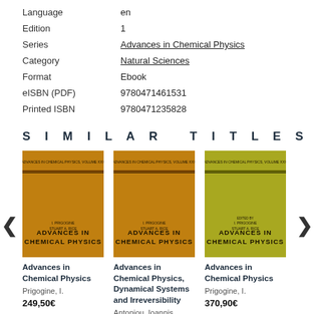| Language | en |
| Edition | 1 |
| Series | Advances in Chemical Physics |
| Category | Natural Sciences |
| Format | Ebook |
| eISBN (PDF) | 9780471461531 |
| Printed ISBN | 9780471235828 |
SIMILAR TITLES
[Figure (photo): Book cover: Advances in Chemical Physics, Prigogine, I. Orange/amber colored cover with title text in dark.]
Advances in Chemical Physics
Prigogine, I.
249,50€
[Figure (photo): Book cover: Advances in Chemical Physics, Dynamical Systems and Irreversibility, Antoniou, Ioannis. Orange/amber colored cover.]
Advances in Chemical Physics, Dynamical Systems and Irreversibility
Antoniou, Ioannis
[Figure (photo): Book cover: Advances in Chemical Physics, Prigogine, I. Olive/yellow colored cover with title text in dark.]
Advances in Chemical Physics
Prigogine, I.
370,90€